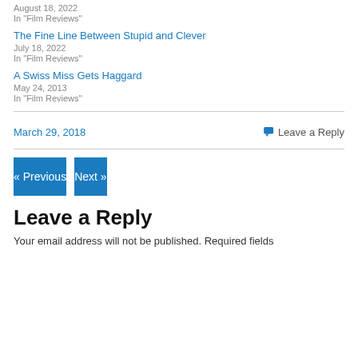August 18, 2022
In "Film Reviews"
The Fine Line Between Stupid and Clever
July 18, 2022
In "Film Reviews"
A Swiss Miss Gets Haggard
May 24, 2013
In "Film Reviews"
March 29, 2018
Leave a Reply
« Previous
Next »
Leave a Reply
Your email address will not be published. Required fields